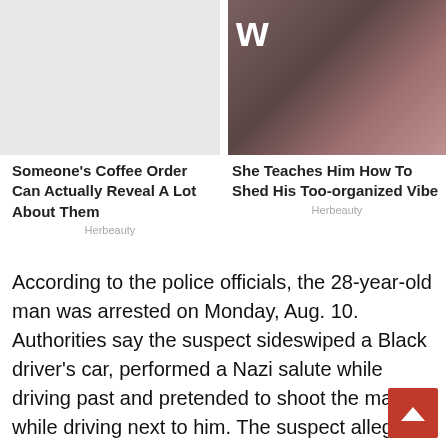[Figure (photo): Left ad image placeholder, light gray background]
Someone's Coffee Order Can Actually Reveal A Lot About Them
Herbeauty
[Figure (photo): Right ad image: couple on bed, partially visible letter W on dark background]
She Teaches Him How To Shed His Too-organized Vibe
Herbeauty
According to the police officials, the 28-year-old man was arrested on Monday, Aug. 10. Authorities say the suspect sideswiped a Black driver's car, performed a Nazi salute while driving past and pretended to shoot the man while driving next to him. The suspect allegedly yelled the N-word as well.
His name is Jordan Patrick Leahy and he allegedly